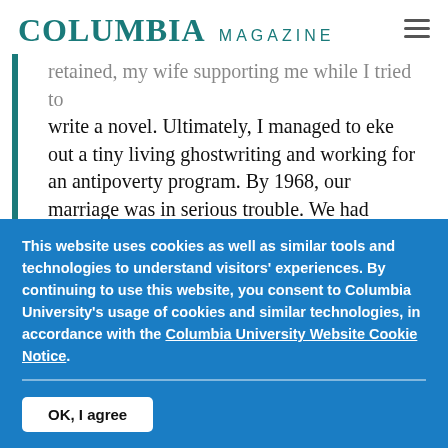COLUMBIA MAGAZINE
retained, my wife supporting me while I tried to write a novel. Ultimately, I managed to eke out a tiny living ghostwriting and working for an antipoverty program. By 1968, our marriage was in serious trouble. We had moved from secluded middle-class Inwood, on the upper tip of Manhattan, down to West 103rd Street, a dozen
This website uses cookies as well as similar tools and technologies to understand visitors' experiences. By continuing to use this website, you consent to Columbia University's usage of cookies and similar technologies, in accordance with the Columbia University Website Cookie Notice.
OK, I agree